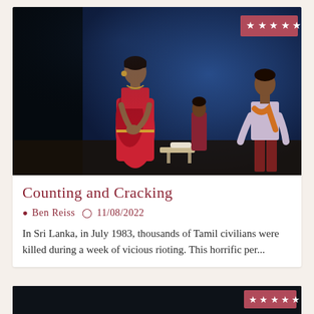[Figure (photo): Theater stage photo showing performers in a dark blue-lit scene. A woman in a red sari stands center-left, two other performers visible in the background. A five-star rating badge in dark pink appears in the top-right corner of the image.]
Counting and Cracking
Ben Reiss  11/08/2022
In Sri Lanka, in July 1983, thousands of Tamil civilians were killed during a week of vicious rioting. This horrific per...
[Figure (photo): Bottom strip of a second card with dark background and a five-star rating badge visible in the lower-right corner.]